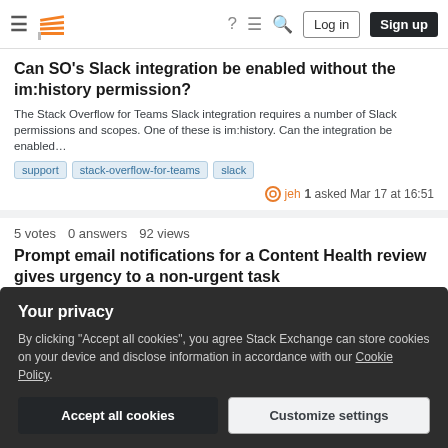Stack Overflow navigation bar with hamburger menu, SO logo, help icon, chat icon, search icon, Log in button, Sign up button
Can SO's Slack integration be enabled without the im:history permission?
The Stack Overflow for Teams Slack integration requires a number of Slack permissions and scopes. One of these is im:history. Can the integration be enabled...
support
stack-overflow-for-teams
slack
jeh 1 asked Mar 17 at 16:51
5 votes  0 answers  92 views
Prompt email notifications for a Content Health review gives urgency to a non-urgent task
I like getting prompt email notifications for getting a comment or an answer in Stack Overflow for Teams, because it's likely to be relevant to something that I'm working...
Your privacy
By clicking "Accept all cookies", you agree Stack Exchange can store cookies on your device and disclose information in accordance with our Cookie Policy.
Accept all cookies
Customize settings
[closed]